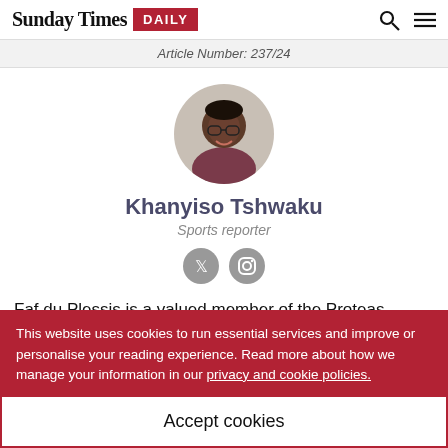Sunday Times DAILY
Article Number: 237/24
[Figure (photo): Circular profile photo of Khanyiso Tshwaku, a smiling man wearing glasses and a dark shirt]
Khanyiso Tshwaku
Sports reporter
Faf du Plessis is a valued member of the Proteas national set-up with his experience, but the value of him having a national
This website uses cookies to run essential services and improve or personalise your reading experience. Read more about how we manage your information in our privacy and cookie policies.
Accept cookies